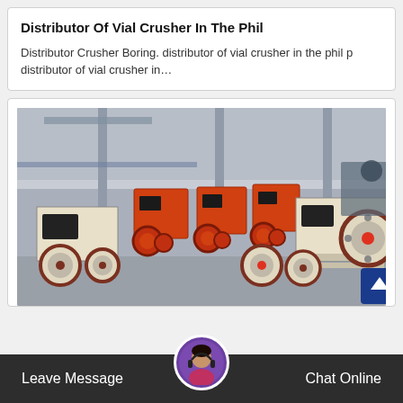Distributor Of Vial Crusher In The Phil
Distributor Crusher Boring. distributor of vial crusher in the phil p distributor of vial crusher in…
[Figure (photo): Industrial view of multiple jaw crusher machines and other mining/crushing equipment arranged in a factory floor, machines are cream/beige and orange colored with large flywheels]
Leave Message   Chat Online
Mining Jobs Over ore Equipment...